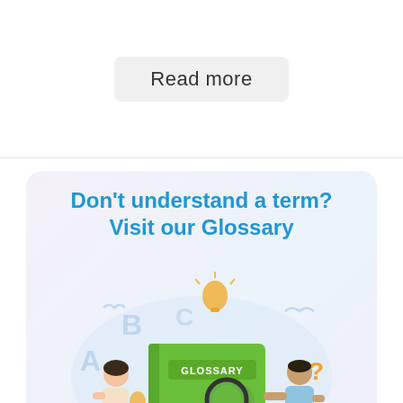Read more
[Figure (illustration): Glossary promotional card with title 'Don't understand a term? Visit our Glossary' and an illustration showing two people with a large green glossary book, gears, magnifying glass, light bulb, and letters A B C floating around]
Don't understand a term? Visit our Glossary